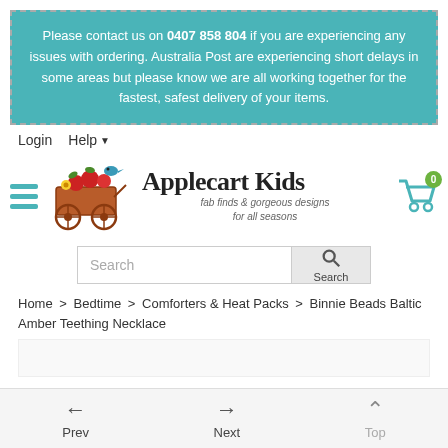Please contact us on 0407 858 804 if you are experiencing any issues with ordering. Australia Post are experiencing short delays in some areas but please know we are all working together for the fastest, safest delivery of your items.
Login  Help
[Figure (logo): Applecart Kids logo with colorful wagon illustration and text 'Applecart Kids - fab finds & gorgeous designs for all seasons']
Search
Home > Bedtime > Comforters & Heat Packs > Binnie Beads Baltic Amber Teething Necklace
Prev  Next  Top